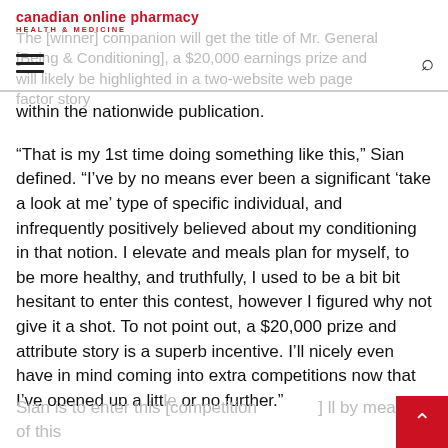canadian online pharmacy
HEALTH & MEDICINE
The [winner] companion will get the title of Mr. General [Being & Conditioning], a $20,000 earnings prize and will likely be highlighted in a two-website web page factor story within the nationwide publication.
“That is my 1st time doing something like this,” Sian defined. “I’ve by no means ever been a significant ‘take a look at me’ type of specific individual, and infrequently positively believed about my conditioning in that notion. I elevate and meals plan for myself, to be more healthy, and truthfully, I used to be a bit bit hesitant to enter this contest, however I figured why not give it a shot. To not point out, a $20,000 prize and attribute story is a superb incentive. I’ll nicely even have in mind coming into extra competitions now that I’ve opened up a little or no further.”
Sian is to enter this [competition] ... ll by means of this